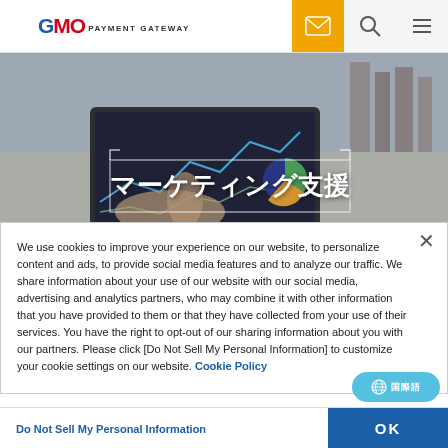GMO PAYMENT GATEWAY
[Figure (photo): Person working on a laptop showing analytics charts and graphs, with text overlay reading マーケティング支援 (Marketing Support)]
We use cookies to improve your experience on our website, to personalize content and ads, to provide social media features and to analyze our traffic. We share information about your use of our website with our social media, advertising and analytics partners, who may combine it with other information that you have provided to them or that they have collected from your use of their services. You have the right to opt-out of our sharing information about you with our partners. Please click [Do Not Sell My Personal Information] to customize your cookie settings on our website. Cookie Policy
Do Not Sell My Personal Information
OK